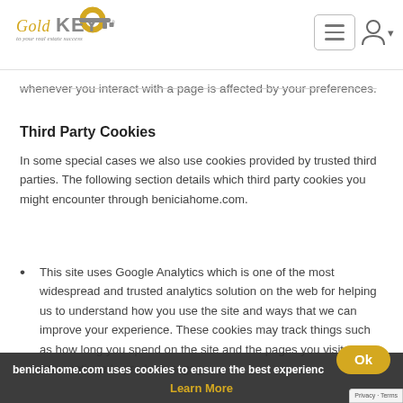Gold KEY to your real estate success
whenever you interact with a page is affected by your preferences.
Third Party Cookies
In some special cases we also use cookies provided by trusted third parties. The following section details which third party cookies you might encounter through beniciahome.com.
This site uses Google Analytics which is one of the most widespread and trusted analytics solution on the web for helping us to understand how you use the site and ways that we can improve your experience. These cookies may track things such as how long you spend on the site and the pages you visit so we can continue to produce engag… content.
beniciahome.com uses cookies to ensure the best experience
Learn More